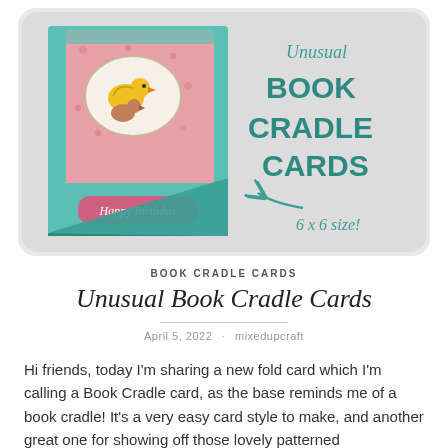[Figure (illustration): Promotional image for 'Unusual Book Cradle Cards' showing a teal/pink handmade birthday card styled as a book cradle with a bird illustration and 'Happy Birthday' banner. Text overlay reads 'Unusual BOOK CRADLE CARDS' in teal, with '6 x 6 size!' in script handwriting and an arrow pointing to the card base.]
BOOK CRADLE CARDS
Unusual Book Cradle Cards
April 5, 2022 · mixedupcraft
Hi friends, today I'm sharing a new fold card which I'm calling a Book Cradle card, as the base reminds me of a book cradle! It's a very easy card style to make, and another great one for showing off those lovely patterned...